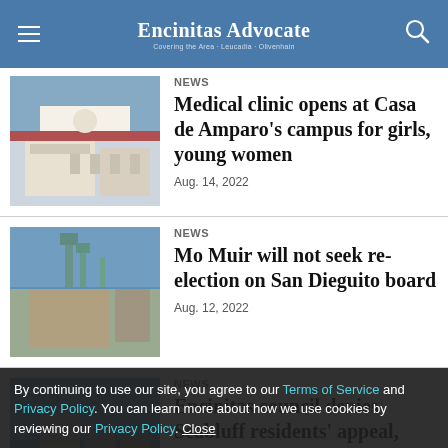Encinitas Advocate
NEWS
Medical clinic opens at Casa de Amparo's campus for girls, young women
Aug. 14, 2022
NEWS
Mo Muir will not seek re-election on San Dieguito board
Aug. 12, 2022
NEWS
Encinitas council denies Seabluff residents' appeal, approves Alta Marea sister project
By continuing to use our site, you agree to our Terms of Service and Privacy Policy. You can learn more about how we use cookies by reviewing our Privacy Policy. Close